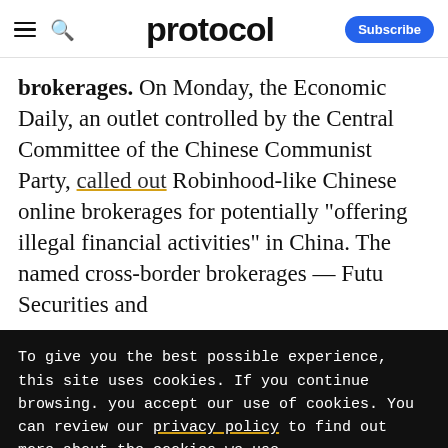protocol
brokerages. On Monday, the Economic Daily, an outlet controlled by the Central Committee of the Chinese Communist Party, called out Robinhood-like Chinese online brokerages for potentially "offering illegal financial activities" in China. The named cross-border brokerages — Futu Securities and
To give you the best possible experience, this site uses cookies. If you continue browsing. you accept our use of cookies. You can review our privacy policy to find out more about the cookies we use.
Accept